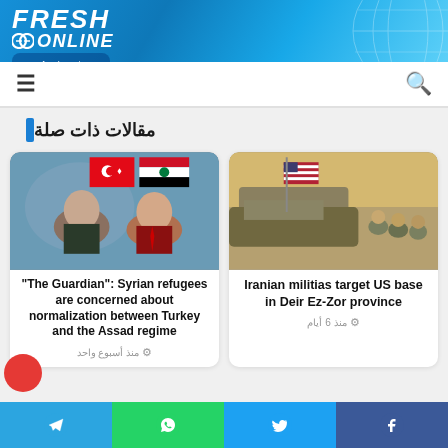[Figure (logo): Fresh Online logo with globe graphic on blue gradient header background, URL www.fresh-syria.net]
www.fresh-syria.net
مقالات ذات صلة
[Figure (photo): Photo of Assad and Erdogan with Turkish and Syrian flags in background]
"The Guardian": Syrian refugees are concerned about normalization between Turkey and the Assad regime
منذ أسبوع واحد
[Figure (photo): Photo of US soldiers with American flag in desert, Deir Ez-Zor]
Iranian militias target US base in Deir Ez-Zor province
منذ 6 أيام